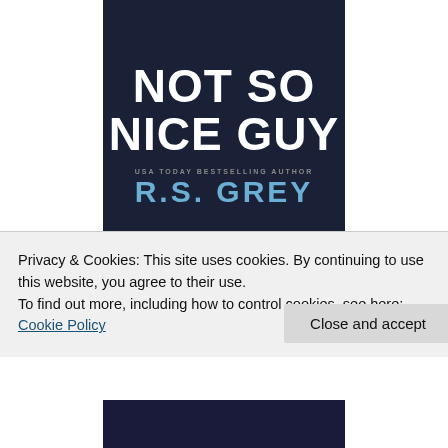[Figure (illustration): Book cover for 'Not So Nice Guy' by R.S. Grey. Dark navy background with large bold white text reading 'NOT SO NICE GUY', subtitle 'USA TODAY BESTSELLING AUTHOR' and author name 'R.S. GREY' in blue.]
[Figure (illustration): Second book cover showing a romantic comedy with a man and woman on a colorful background, with cursive text reading 'a romantic comedy'.]
Privacy & Cookies: This site uses cookies. By continuing to use this website, you agree to their use.
To find out more, including how to control cookies, see here: Cookie Policy
Close and accept
[Figure (illustration): Bottom portion of a third book cover, dark navy background with partial title text visible.]